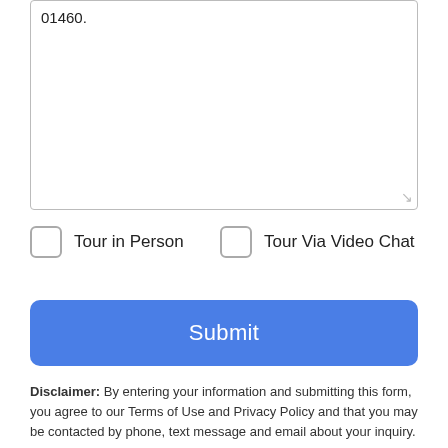01460.
Tour in Person
Tour Via Video Chat
Submit
Disclaimer: By entering your information and submitting this form, you agree to our Terms of Use and Privacy Policy and that you may be contacted by phone, text message and email about your inquiry.
The property listing data and information set forth herein were provided to MLS Property Information Network, Inc. from third party sources, including sellers, lessors and public records, and
Take a Tour
Ask A Question